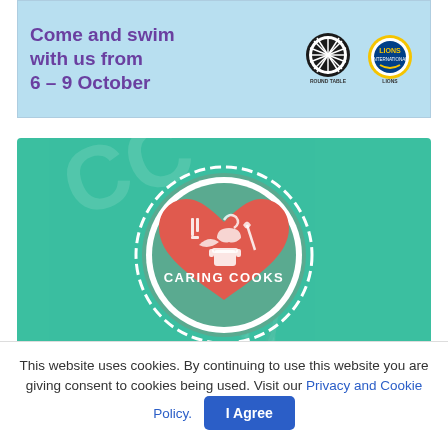[Figure (illustration): Top banner ad: light blue background with purple bold text 'Come and swim with us from 6 – 9 October' and Round Table / Lions Club logos on the right.]
[Figure (illustration): Caring Cooks advertisement on teal/green background. Central badge with scalloped white circle containing a red heart filled with cooking icons and white text 'CARING COOKS'. Below: 'FOR MORE INFO VISIT:' in white caps, and a white pill-shaped box with 'caringcooksofjersey.com' in teal text.]
This website uses cookies. By continuing to use this website you are giving consent to cookies being used. Visit our Privacy and Cookie Policy.
I Agree